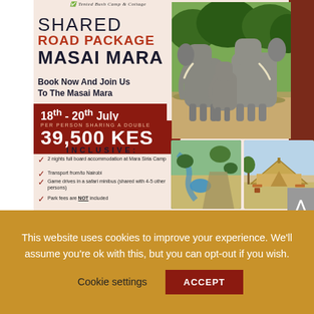[Figure (illustration): Travel advertisement for Shared Road Package Masai Mara featuring elephants photo top right, aerial landscape photo bottom center, safari tent photo bottom right]
SHARED ROAD PACKAGE MASAI MARA
Book Now And Join Us To The Masai Mara
18th - 20th July
PER PERSON SHARING A DOUBLE
39,500 KES
INCLUSIVE:
2 nights full board accommodation at Mara Siria Camp
Transport from/to Nairobi
Game drives in a safari minibus (shared with 4-5 other persons)
Park fees are NOT included
info@mara-siria-camp.com EMAIL US   More information call us 020 790 2000 | 0721 650 889
This website uses cookies to improve your experience. We'll assume you're ok with this, but you can opt-out if you wish.
Cookie settings
ACCEPT